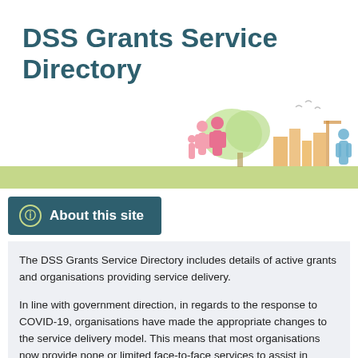DSS Grants Service Directory
[Figure (illustration): Colorful silhouette illustration of families and people under trees on a green lawn, set against a light green band at the bottom]
About this site
The DSS Grants Service Directory includes details of active grants and organisations providing service delivery.
In line with government direction, in regards to the response to COVID-19, organisations have made the appropriate changes to the service delivery model. This means that most organisations now provide none or limited face-to-face services to assist in slowing the